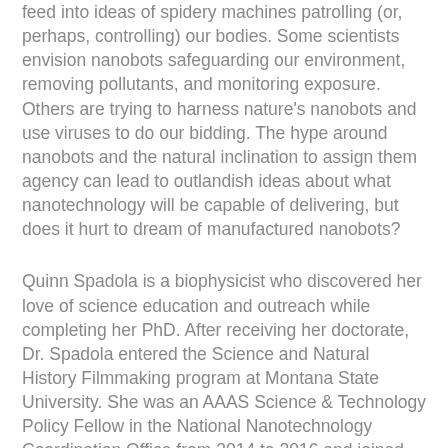feed into ideas of spidery machines patrolling (or, perhaps, controlling) our bodies. Some scientists envision nanobots safeguarding our environment, removing pollutants, and monitoring exposure. Others are trying to harness nature's nanobots and use viruses to do our bidding. The hype around nanobots and the natural inclination to assign them agency can lead to outlandish ideas about what nanotechnology will be capable of delivering, but does it hurt to dream of manufactured nanobots?
Quinn Spadola is a biophysicist who discovered her love of science education and outreach while completing her PhD. After receiving her doctorate, Dr. Spadola entered the Science and Natural History Filmmaking program at Montana State University. She was an AAAS Science & Technology Policy Fellow in the National Nanotechnology Coordination Office from 2014 to 2016 and joined the contract staff in September 2016. There she works to build community around the National Nanotechnology Initiative, create engaging nanotechnology-themed content, and share the awesomeness of nanotechnology.